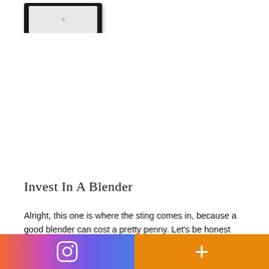[Figure (photo): Partial view of a black tablet or e-reader device shown at the top of the page]
Invest In A Blender
Alright, this one is where the sting comes in, because a good blender can cost a pretty penny. Let's be honest though...no one enjoys a lumpy smoothie! So I recommend buying a good one now, knowing you'll be happy with the results and it will last a long time. We recommend the NutriBullet...
[Figure (other): Bottom navigation bar with Instagram icon on gradient background (orange to purple) on the left and a plus (+) button on orange background on the right]